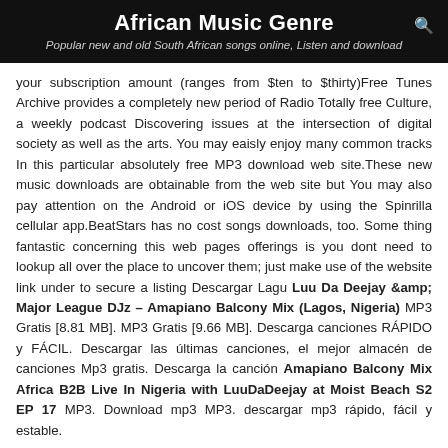African Music Genre
Popular new and old South African songs online, Listen and download
your subscription amount (ranges from $ten to $thirty)Free Tunes Archive provides a completely new period of Radio Totally free Culture, a weekly podcast Discovering issues at the intersection of digital society as well as the arts. You may eaisly enjoy many common tracks In this particular absolutely free MP3 download web site.These new music downloads are obtainable from the web site but You may also pay attention on the Android or iOS device by using the Spinrilla cellular app.BeatStars has no cost songs downloads, too. Some thing fantastic concerning this web pages offerings is you dont need to lookup all over the place to uncover them; just make use of the website link under to secure a listing Descargar Lagu Luu Da Deejay &amp; Major League DJz – Amapiano Balcony Mix (Lagos, Nigeria) MP3 Gratis [8.81 MB]. MP3 Gratis [9.66 MB]. Descarga canciones RÁPIDO y FÁCIL. Descargar las últimas canciones, el mejor almacén de canciones Mp3 gratis. Descarga la canción Amapiano Balcony Mix Africa B2B Live In Nigeria with LuuDaDeejay at Moist Beach S2 EP 17 MP3. Download mp3 MP3. descargar mp3 rápido, fácil y estable.